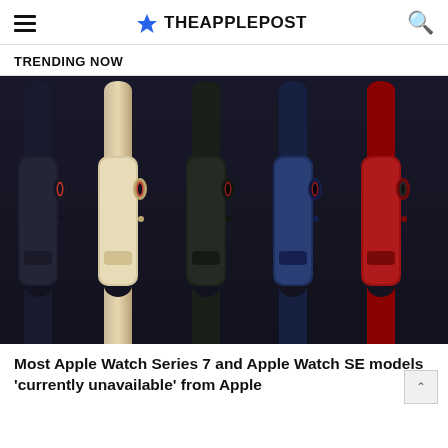THEAPPLEPOST
TRENDING NOW
[Figure (photo): Five Apple Watch Series 7 models shown side by side from the side profile view, in colors: midnight black, starlight/gold, dark green/black, blue, and red (PRODUCT RED), each showing the digital crown and side button, with various band colors.]
Most Apple Watch Series 7 and Apple Watch SE models 'currently unavailable' from Apple